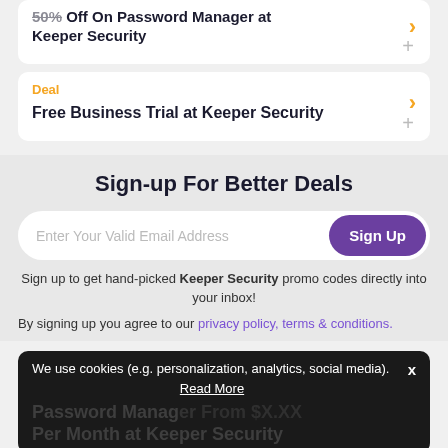50% Off On Password Manager at Keeper Security
Deal
Free Business Trial at Keeper Security
Sign-up For Better Deals
Enter Your Valid Email Address
Sign Up
Sign up to get hand-picked Keeper Security promo codes directly into your inbox!
By signing up you agree to our privacy policy, terms & conditions.
We use cookies (e.g. personalization, analytics, social media).
Read More
Password Manager From $X.XX Per Month at Keeper Security